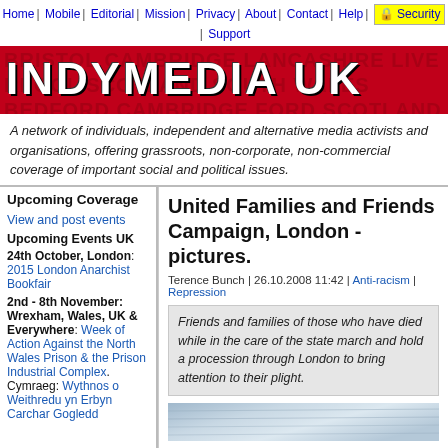Home | Mobile | Editorial | Mission | Privacy | About | Contact | Help | Security | Support
[Figure (logo): Indymedia UK red banner logo with white bold text 'INDYMEDIA UK' and city names in background]
A network of individuals, independent and alternative media activists and organisations, offering grassroots, non-corporate, non-commercial coverage of important social and political issues.
Upcoming Coverage
View and post events
Upcoming Events UK
24th October, London: 2015 London Anarchist Bookfair
2nd - 8th November: Wrexham, Wales, UK & Everywhere: Week of Action Against the North Wales Prison & the Prison Industrial Complex. Cymraeg: Wythnos o Weithredu yn Erbyn Carchar Gogledd
United Families and Friends Campaign, London - pictures.
Terence Bunch | 26.10.2008 11:42 | Anti-racism | Repression
Friends and families of those who have died while in the care of the state march and hold a procession through London to bring attention to their plight.
[Figure (photo): Partial photo showing newspaper or document text, blue and grey tones]